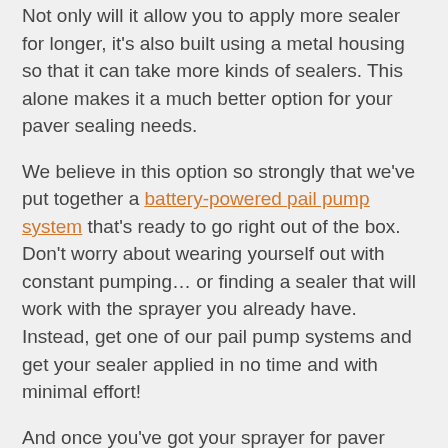Not only will it allow you to apply more sealer for longer, it's also built using a metal housing so that it can take more kinds of sealers. This alone makes it a much better option for your paver sealing needs.
We believe in this option so strongly that we've put together a battery-powered pail pump system that's ready to go right out of the box. Don't worry about wearing yourself out with constant pumping… or finding a sealer that will work with the sprayer you already have. Instead, get one of our pail pump systems and get your sealer applied in no time and with minimal effort!
And once you've got your sprayer for paver sealer, make sure to check out this list of convenient tips...